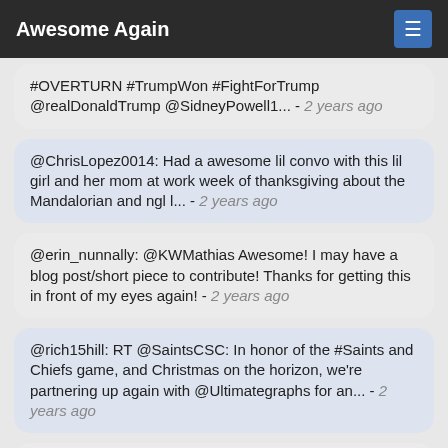Awesome Again
#OVERTURN #TrumpWon #FightForTrump @realDonaldTrump @SidneyPowell1... - 2 years ago
@ChrisLopez0014: Had a awesome lil convo with this lil girl and her mom at work week of thanksgiving about the Mandalorian and ngl l... - 2 years ago
@erin_nunnally: @KWMathias Awesome! I may have a blog post/short piece to contribute! Thanks for getting this in front of my eyes again! - 2 years ago
@rich15hill: RT @SaintsCSC: In honor of the #Saints and Chiefs game, and Christmas on the horizon, we're partnering up again with @Ultimategraphs for an... - 2 years ago
@SaiyanaBrief: Only downsides was so comments from